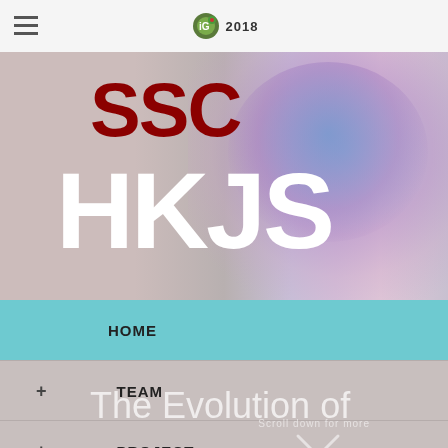iGEM 2018
[Figure (screenshot): iGEM 2018 website screenshot showing SSC HKJS team page with hero banner, navigation menu (HOME, TEAM, PROJECT, PARTS, SAFETY), and overlay text 'The Evolution of... The Future of F...']
SSC HKJS
HOME
+ TEAM
+ PROJECT
+ PARTS
SAFETY
The Evolution of
Scroll down for more
The Future of F